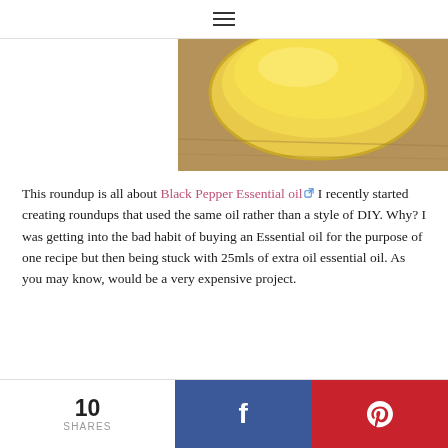≡ (hamburger menu)
[Figure (photo): A yellow/golden balm or cream in an open jar, viewed from above on a wooden surface, positioned in the upper right of the image area.]
This roundup is all about Black Pepper Essential oil ☞ I recently started creating roundups that used the same oil rather than a style of DIY. Why? I was getting into the bad habit of buying an Essential oil for the purpose of one recipe but then being stuck with 25mls of extra oil essential oil. As you may know, would be a very expensive project.
10 SHARES  [Facebook share button]  [Pinterest share button]